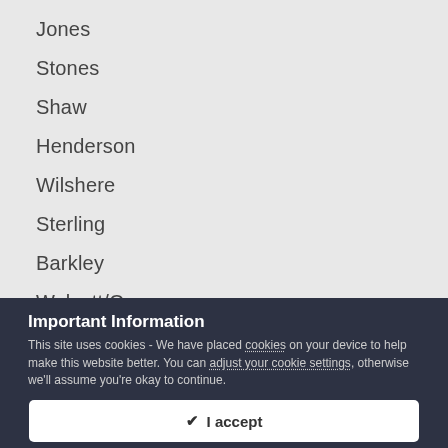Jones
Stones
Shaw
Henderson
Wilshere
Sterling
Barkley
Walcott/Ox
Important Information
This site uses cookies - We have placed cookies on your device to help make this website better. You can adjust your cookie settings, otherwise we'll assume you're okay to continue.
✔  I accept